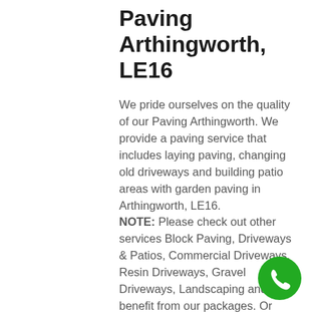Paving Arthingworth, LE16
We pride ourselves on the quality of our Paving Arthingworth. We provide a paving service that includes laying paving, changing old driveways and building patio areas with garden paving in Arthingworth, LE16.
NOTE: Please check out other services Block Paving, Driveways & Patios, Commercial Driveways, Resin Driveways, Gravel Driveways, Landscaping and benefit from our packages. Or just simply contact now AG Paving for a free on-site quote. Please also have a look at our amazing testimonials, about
[Figure (other): Green circular phone call button icon in the bottom-right corner]